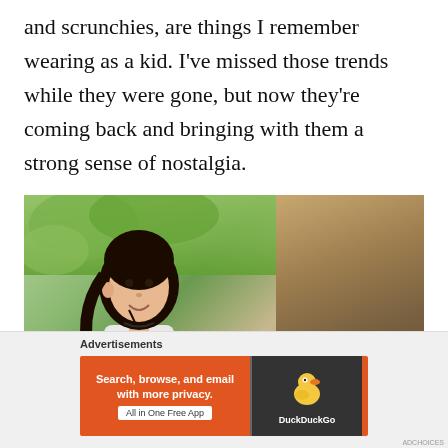and scrunchies, are things I remember wearing as a kid. I've missed those trends while they were gone, but now they're coming back and bringing with them a strong sense of nostalgia.
[Figure (photo): A young girl with dark hair smiling outdoors, standing near a large tree with green leaves in the background]
Advertisements
[Figure (other): DuckDuckGo advertisement banner: 'Search, browse, and email with more privacy. All in One Free App' with DuckDuckGo logo on dark background]